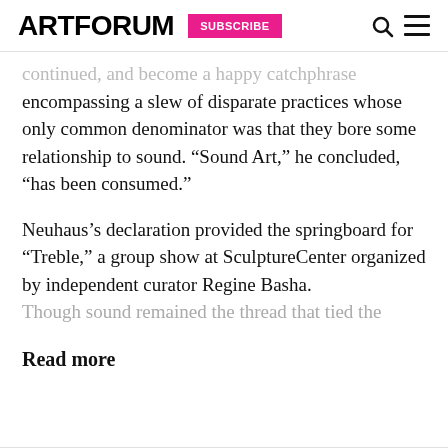ARTFORUM  SUBSCRIBE
continued, and become a happy catchphrase encompassing a slew of disparate practices whose only common denominator was that they bore some relationship to sound. “Sound Art,” he concluded, “has been consumed.”
Neuhaus’s declaration provided the springboard for “Treble,” a group show at SculptureCenter organized by independent curator Regine Basha. Though sound remained the thread that tied the
Read more